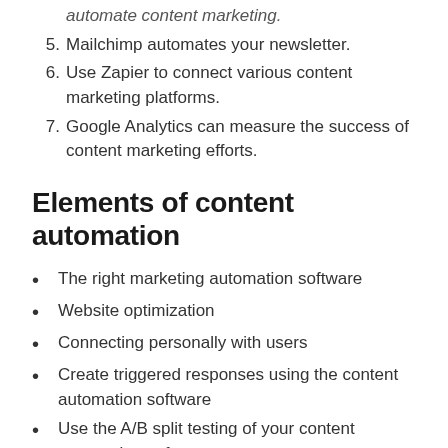automate content marketing.
5. Mailchimp automates your newsletter.
6. Use Zapier to connect various content marketing platforms.
7. Google Analytics can measure the success of content marketing efforts.
Elements of content automation
The right marketing automation software
Website optimization
Connecting personally with users
Create triggered responses using the content automation software
Use the A/B split testing of your content automation software.
Establishing key metrics for identifying and scoring leads